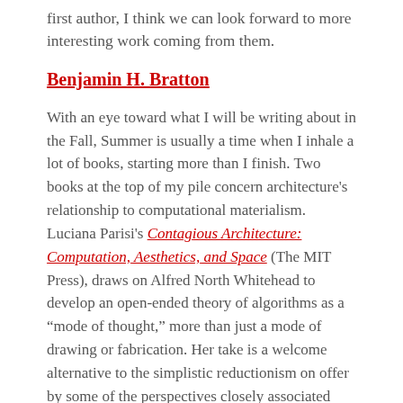first author, I think we can look forward to more interesting work coming from them.
Benjamin H. Bratton
With an eye toward what I will be writing about in the Fall, Summer is usually a time when I inhale a lot of books, starting more than I finish. Two books at the top of my pile concern architecture's relationship to computational materialism.  Luciana Parisi's Contagious Architecture: Computation, Aesthetics, and Space (The MIT Press), draws on Alfred North Whitehead to develop an open-ended theory of algorithms as a “mode of thought,” more than just a mode of drawing or fabrication. Her take is a welcome alternative to the simplistic reductionism on offer by some of the perspectives closely associated with Parametricism. Architecture Xenoculture is a special issue of eVolo, guest edited by my friend, Juan Azulay, along with Benjamin Rice. It is a wild collection of essays, designs,